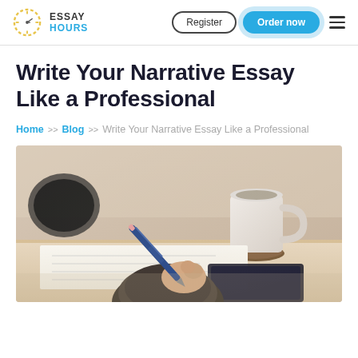ESSAY HOURS | Register | Order now
Write Your Narrative Essay Like a Professional
Home >> Blog >> Write Your Narrative Essay Like a Professional
[Figure (photo): Person writing on paper with a pen at a desk, with a coffee mug in background. Wearing a knitted sweater sleeve. Warm natural light.]